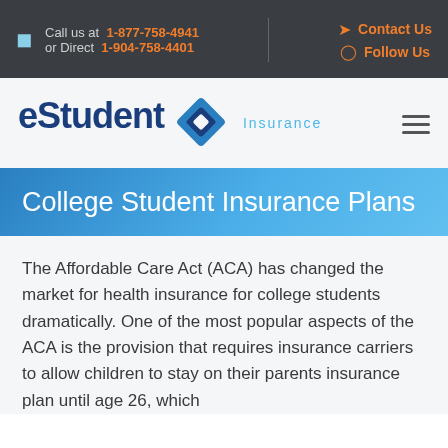Call us at 1-877-758-4941 or Direct 1-904-758-4401 | Contact Us | Follow Us
[Figure (logo): eStudent Insurance logo with blue diamond/rhombus icon]
College Student Insurance Plans
The Affordable Care Act (ACA) has changed the market for health insurance for college students dramatically. One of the most popular aspects of the ACA is the provision that requires insurance carriers to allow children to stay on their parents insurance plan until age 26, which